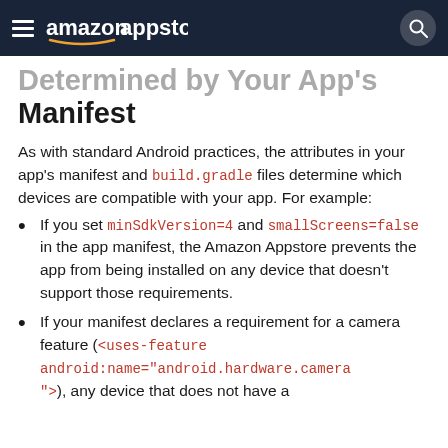amazon appstore
Determined by Your App's Manifest
As with standard Android practices, the attributes in your app's manifest and build.gradle files determine which devices are compatible with your app. For example:
If you set minSdkVersion=4 and smallScreens=false in the app manifest, the Amazon Appstore prevents the app from being installed on any device that doesn't support those requirements.
If your manifest declares a requirement for a camera feature (<uses-feature android:name="android.hardware.camera"/>), any device that does not have a